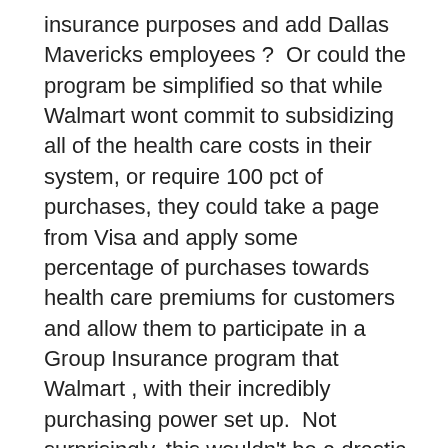insurance purposes and add Dallas Mavericks employees ? Or could the program be simplified so that while Walmart wont commit to subsidizing all of the health care costs in their system, or require 100 pct of purchases, they could take a page from Visa and apply some percentage of purchases towards health care premiums for customers and allow them to participate in a Group Insurance program that Walmart , with their incredibly purchasing power set up. Not surprisingly, this wouldn't be a drastic step for a Walmart. They already offer special discounts to other self insured companies for the purchase of prescription drugs.
Here is the bottom line. Would consumers and businesses commit to do business with companies that offer incentives and subsidies built around health insurance coverage ? And what if health insurance became a value add rather than a primary product ? Would a service from companies that are big enough to